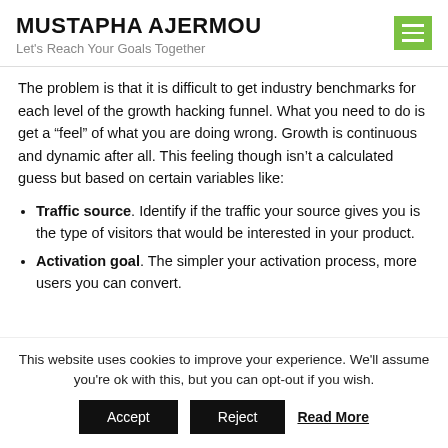MUSTAPHA AJERMOU — Let's Reach Your Goals Together
The problem is that it is difficult to get industry benchmarks for each level of the growth hacking funnel. What you need to do is get a “feel” of what you are doing wrong. Growth is continuous and dynamic after all. This feeling though isn’t a calculated guess but based on certain variables like:
Traffic source. Identify if the traffic your source gives you is the type of visitors that would be interested in your product.
Activation goal. The simpler your activation process, more users you can convert.
This website uses cookies to improve your experience. We'll assume you're ok with this, but you can opt-out if you wish.